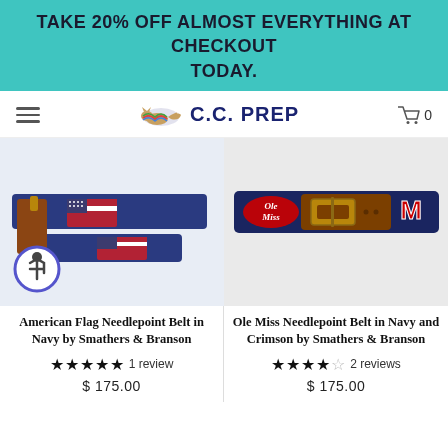TAKE 20% OFF ALMOST EVERYTHING AT CHECKOUT TODAY.
[Figure (screenshot): C.C. Prep store navigation bar with hamburger menu, fox logo, brand name C.C. PREP, and cart icon showing 0 items]
[Figure (photo): American Flag Needlepoint Belt in Navy by Smathers & Branson - navy blue needlepoint belt with American flag pattern and brown leather accents]
American Flag Needlepoint Belt in Navy by Smathers & Branson
★★★★★ 1 review
$ 175.00
[Figure (photo): Ole Miss Needlepoint Belt in Navy and Crimson by Smathers & Branson - navy needlepoint belt with Ole Miss logo and M letter in red and white, brown leather buckle]
Ole Miss Needlepoint Belt in Navy and Crimson by Smathers & Branson
★★★★☆ 2 reviews
$ 175.00